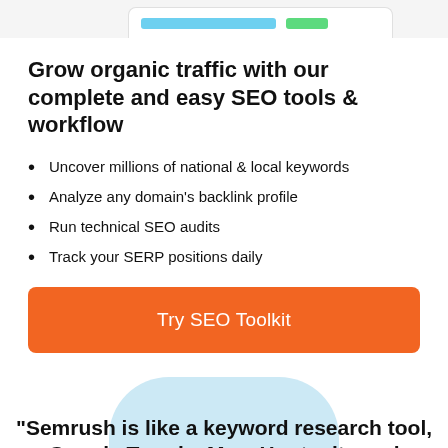[Figure (screenshot): Partial UI card at the top of the page with a blue bar and green button element visible]
Grow organic traffic with our complete and easy SEO tools & workflow
Uncover millions of national & local keywords
Analyze any domain's backlink profile
Run technical SEO audits
Track your SERP positions daily
Try SEO Toolkit
“Semrush is like a keyword research tool, Google Trends, Moz, Hootsuite and SimilarWeb…